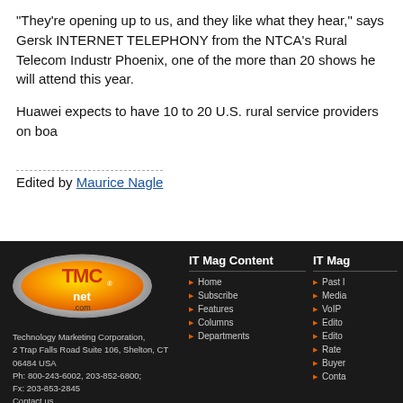“They’re opening up to us, and they like what they hear,” says Gersk INTERNET TELEPHONY from the NTCA’s Rural Telecom Industr Phoenix, one of the more than 20 shows he will attend this year.
Huawei expects to have 10 to 20 U.S. rural service providers on boa
Edited by Maurice Nagle
[Figure (logo): TMCnet.com oval logo with orange/yellow and silver gradient]
Technology Marketing Corporation, 2 Trap Falls Road Suite 106, Shelton, CT 06484 USA
Ph: 800-243-6002, 203-852-6800; Fx: 203-853-2845
Contact us
Technology Marketing Corp. © 2022 Copyright.
IT Mag Content
Home
Subscribe
Features
Columns
Departments
IT Mag
Past I
Media
VoIP
Edito
Edito
Rate
Buyer
Conta